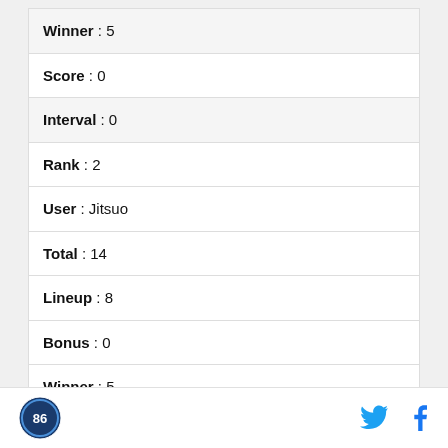| Winner : 5 |
| Score : 0 |
| Interval : 0 |
| Rank : 2 |
| User : Jitsuo |
| Total : 14 |
| Lineup : 8 |
| Bonus : 0 |
| Winner : 5 |
| Score : 1 |
| Interval : 0 |
[Logo] [Twitter] [Facebook]